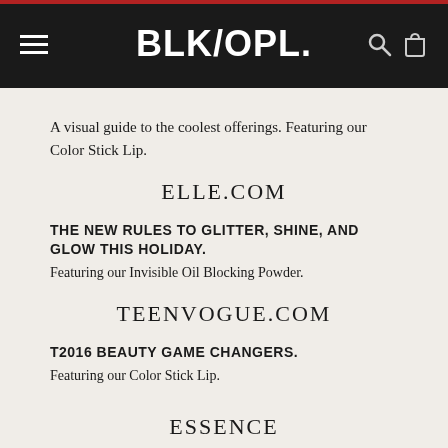BLK/OPL.
A visual guide to the coolest offerings. Featuring our Color Stick Lip.
ELLE.COM
THE NEW RULES TO GLITTER, SHINE, AND GLOW THIS HOLIDAY.
Featuring our Invisible Oil Blocking Powder.
TEENVOGUE.COM
T2016 BEAUTY GAME CHANGERS.
Featuring our Color Stick Lip.
ESSENCE
#BUYBLACK: HOLIDAY 2016 GIFT GUIDE.
Featuring our Eyeshadow Duos.